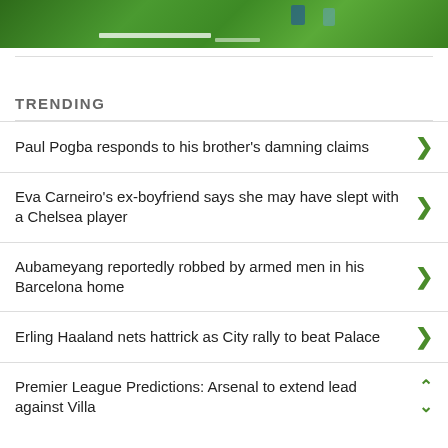[Figure (photo): Partial view of a football/soccer match on a green pitch, players visible near the bottom of frame]
TRENDING
Paul Pogba responds to his brother's damning claims
Eva Carneiro's ex-boyfriend says she may have slept with a Chelsea player
Aubameyang reportedly robbed by armed men in his Barcelona home
Erling Haaland nets hattrick as City rally to beat Palace
Premier League Predictions: Arsenal to extend lead against Villa